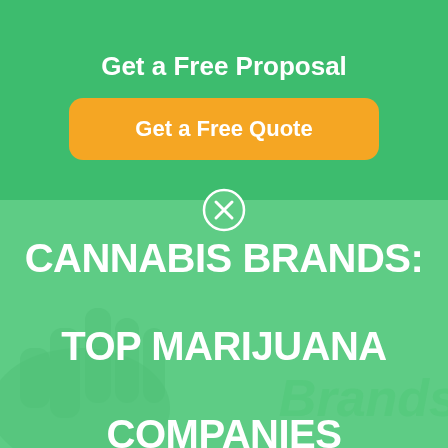Get a Free Proposal
Get a Free Quote
[Figure (illustration): Close button circle with X icon dividing top green CTA section from bottom muted green content section]
CANNABIS BRANDS: TOP MARIJUANA COMPANIES